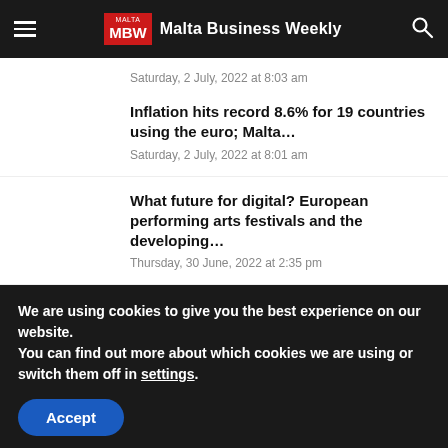MBW Malta Business Weekly
Saturday, 2 July, 2022 at 8:03 am
Inflation hits record 8.6% for 19 countries using the euro; Malta…
Saturday, 2 July, 2022 at 8:01 am
What future for digital? European performing arts festivals and the developing…
Thursday, 30 June, 2022 at 2:35 pm
We are using cookies to give you the best experience on our website.
You can find out more about which cookies we are using or switch them off in settings.
Accept